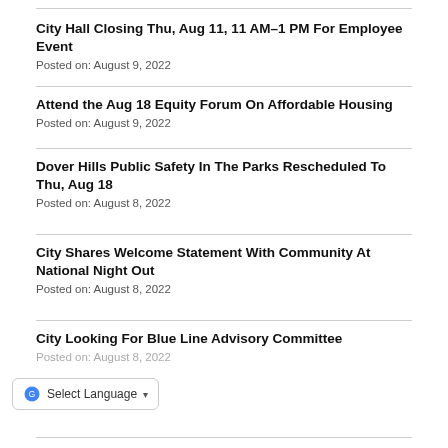City Hall Closing Thu, Aug 11, 11 AM–1 PM For Employee Event
Posted on: August 9, 2022
Attend the Aug 18 Equity Forum On Affordable Housing
Posted on: August 9, 2022
Dover Hills Public Safety In The Parks Rescheduled To Thu, Aug 18
Posted on: August 8, 2022
City Shares Welcome Statement With Community At National Night Out
Posted on: August 8, 2022
City Looking For Blue Line Advisory Committee
Posted on: August 8, 2022